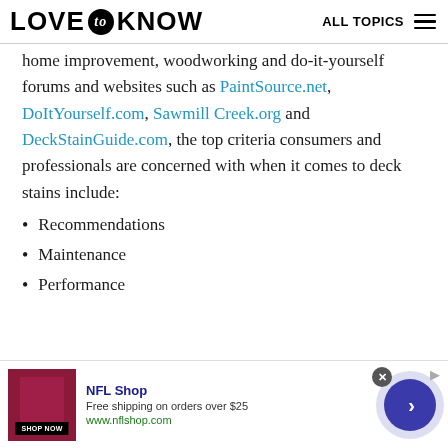LOVE to KNOW | ALL TOPICS
home improvement, woodworking and do-it-yourself forums and websites such as PaintSource.net, DoItYourself.com, SawmillCreek.org and DeckStainGuide.com, the top criteria consumers and professionals are concerned with when it comes to deck stains include:
Recommendations
Maintenance
Performance
[Figure (screenshot): NFL Shop advertisement banner with product image, shop now button, free shipping offer, and arrow navigation button]